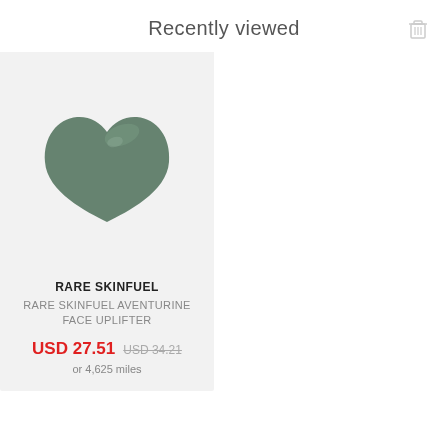Recently viewed
[Figure (photo): Green jade/aventurine gua sha face uplifter tool in heart shape on light gray background]
RARE SKINFUEL
RARE SKINFUEL AVENTURINE FACE UPLIFTER
USD 27.51  USD 34.21
or 4,625 miles